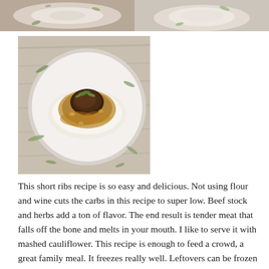[Figure (photo): Two food photos side by side at the top of the page: left shows a dish with white sauce/cream and herbs on a light background; right shows a mound of white food (likely mashed cauliflower) with herbs on a light background.]
[Figure (photo): A large photo of a white plate with braised short ribs served over mashed cauliflower, topped with a brown gravy and garnished with fresh herbs. The plate is on a rustic wooden surface with herb sprigs scattered around.]
This short ribs recipe is so easy and delicious. Not using flour and wine cuts the carbs in this recipe to super low. Beef stock and herbs add a ton of flavor. The end result is tender meat that falls off the bone and melts in your mouth. I like to serve it with mashed cauliflower. This recipe is enough to feed a crowd, a great family meal. It freezes really well. Leftovers can be frozen in freezer bags for up to